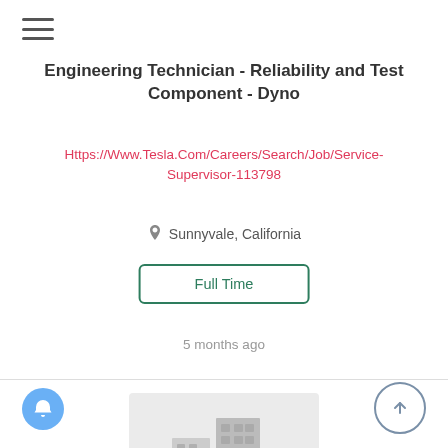≡
Engineering Technician - Reliability and Test Component - Dyno
Https://Www.Tesla.Com/Careers/Search/Job/Service-Supervisor-113798
Sunnyvale, California
Full Time
5 months ago
[Figure (illustration): Gray building/office icon placeholder image]